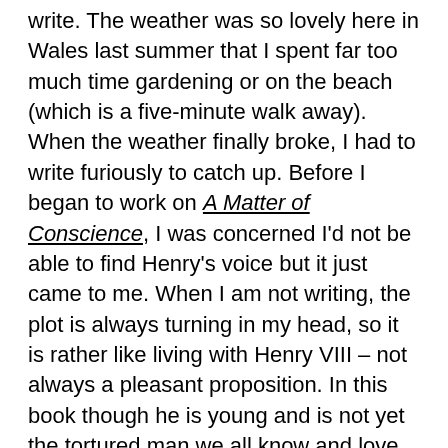write. The weather was so lovely here in Wales last summer that I spent far too much time gardening or on the beach (which is a five-minute walk away). When the weather finally broke, I had to write furiously to catch up. Before I began to work on A Matter of Conscience, I was concerned I'd not be able to find Henry's voice but it just came to me. When I am not writing, the plot is always turning in my head, so it is rather like living with Henry VIII – not always a pleasant proposition. In this book though he is young and is not yet the tortured man we all know and love. He might become more difficult to live with as I progress with books two and three.
JW: How do you research your subjects? Do you try to get it all done before you start writing, or do you prefer to research as you go?
I do both. When I first started out writing in the Tudor